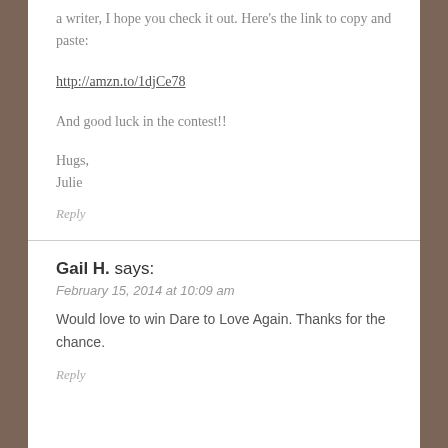a writer, I hope you check it out. Here's the link to copy and paste:
http://amzn.to/1djCe78
And good luck in the contest!!
Hugs,
Julie
Reply
Gail H. says:
February 15, 2014 at 10:09 am
Would love to win Dare to Love Again. Thanks for the chance.
Reply